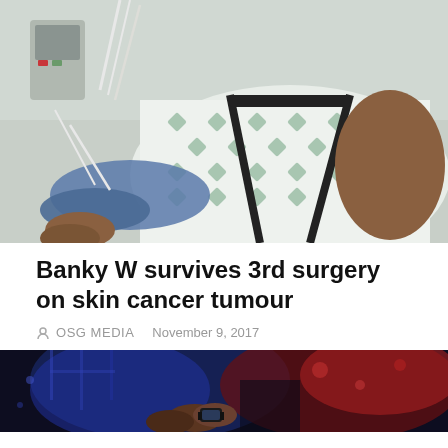[Figure (photo): Person in hospital gown lying in a hospital bed with medical monitoring wires attached, arm in a sling, hospital equipment visible in background]
Banky W survives 3rd surgery on skin cancer tumour
OSG MEDIA   November 9, 2017
[Figure (photo): Dark scene with blue and red lighting, showing hands with a watch, possibly on a stage or event setting]